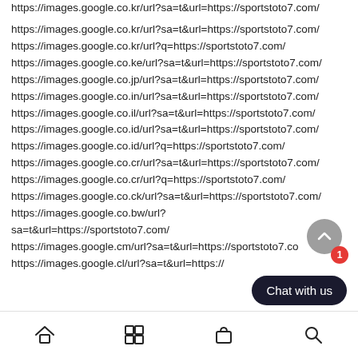https://images.google.co.kr/url?sa=t&url=https://sportstoto7.com/
https://images.google.co.kr/url?q=https://sportstoto7.com/
https://images.google.co.ke/url?sa=t&url=https://sportstoto7.com/
https://images.google.co.jp/url?sa=t&url=https://sportstoto7.com/
https://images.google.co.in/url?sa=t&url=https://sportstoto7.com/
https://images.google.co.il/url?sa=t&url=https://sportstoto7.com/
https://images.google.co.id/url?sa=t&url=https://sportstoto7.com/
https://images.google.co.id/url?q=https://sportstoto7.com/
https://images.google.co.cr/url?sa=t&url=https://sportstoto7.com/
https://images.google.co.cr/url?q=https://sportstoto7.com/
https://images.google.co.ck/url?sa=t&url=https://sportstoto7.com/
https://images.google.co.bw/url?sa=t&url=https://sportstoto7.com/
https://images.google.cm/url?sa=t&url=https://sportstoto7.co...
https://images.google.cl/url?sa=t&url=https://...